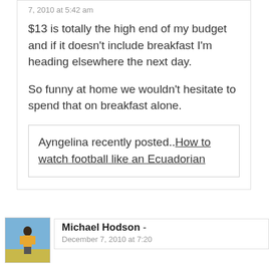7, 2010 at 5:42 am
$13 is totally the high end of my budget and if it doesn't include breakfast I'm heading elsewhere the next day.
So funny at home we wouldn't hesitate to spend that on breakfast alone.
Ayngelina recently posted..How to watch football like an Ecuadorian
Michael Hodson - December 7, 2010 at 7:20